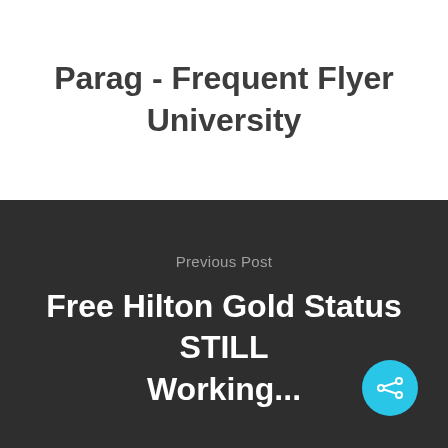Parag - Frequent Flyer University
Previous Post
Free Hilton Gold Status STILL Working...